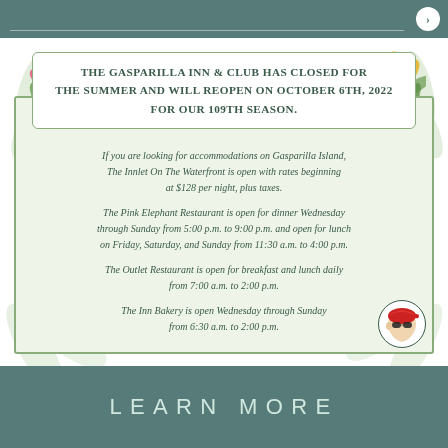The Gasparilla Inn & Club has closed for the summer and will reopen on October 6th, 2022 for our 109th season.
If you are looking for accommodations on Gasparilla Island, The Innlet On The Waterfront is open with rates beginning at $128 per night, plus taxes.
The Pink Elephant Restaurant is open for dinner Wednesday through Sunday from 5:00 p.m. to 9:00 p.m. and open for lunch on Friday, Saturday, and Sunday from 11:30 a.m. to 4:00 p.m.
The Outlet Restaurant is open for breakfast and lunch daily from 7:00 a.m. to 2:00 p.m.
The Inn Bakery is open Wednesday through Sunday from 6:30 a.m. to 2:00 p.m.
[Figure (illustration): Pirate head logo in circle, red bandana, sunglasses, profile view facing left]
LEARN MORE